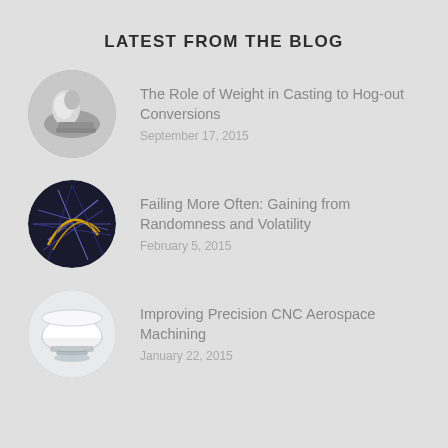LATEST FROM THE BLOG
The Role of Weight in Casting to Hog-out Conversions
September 17, 2015
Failing More Often: Gaining from Randomness and Volatility
February 5, 2015
Improving Precision CNC Aerospace Machining
January 22, 2015